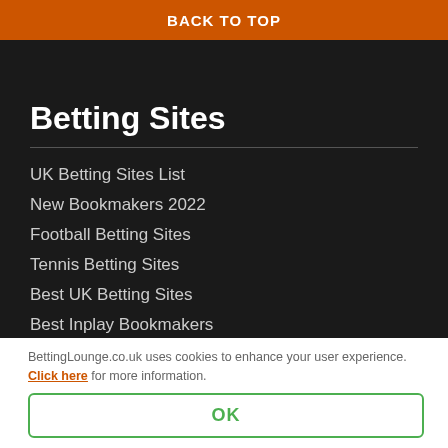BACK TO TOP
Betting Sites
UK Betting Sites List
New Bookmakers 2022
Football Betting Sites
Tennis Betting Sites
Best UK Betting Sites
Best Inplay Bookmakers
BettingLounge.co.uk uses cookies to enhance your user experience. Click here for more information.
OK